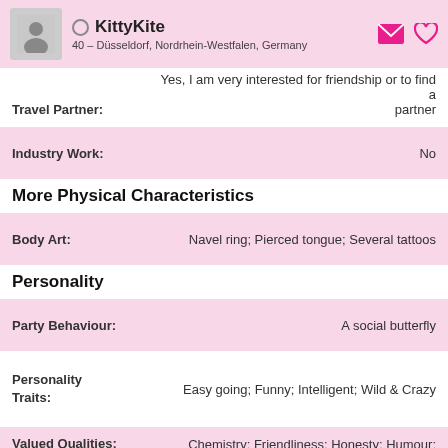KittyKite – 40 – Düsseldorf, Nordrhein-Westfalen, Germany
Travel Partner: Yes, I am very interested for friendship or to find a partner
Industry Work: No
More Physical Characteristics
Body Art: Navel ring; Pierced tongue; Several tattoos
Personality
Party Behaviour: A social butterfly
Personality Traits: Easy going; Funny; Intelligent; Wild & Crazy
Valued Qualities: Chemistry; Friendliness; Honesty; Humour; Sexiness